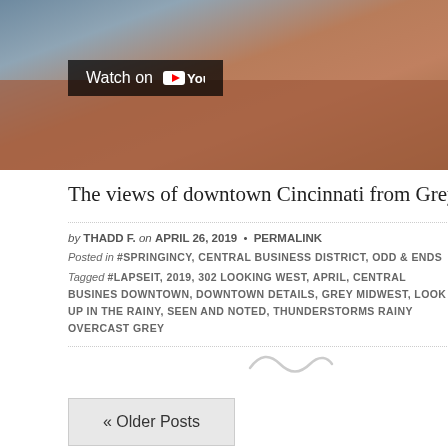[Figure (screenshot): YouTube video thumbnail showing a brick building in Cincinnati with a 'Watch on YouTube' badge overlay]
The views of downtown Cincinnati from Grey's offices are just g
by THADD F. on APRIL 26, 2019 • PERMALINK
Posted in #SPRINGINCY, CENTRAL BUSINESS DISTRICT, ODD & ENDS
Tagged #LAPSEIT, 2019, 302 LOOKING WEST, APRIL, CENTRAL BUSINES DOWNTOWN, DOWNTOWN DETAILS, GREY MIDWEST, LOOK UP IN THE RAINY, SEEN AND NOTED, THUNDERSTORMS RAINY OVERCAST GREY
[Figure (illustration): Tilde/infinity-like decorative swirl in light grey]
« Older Posts